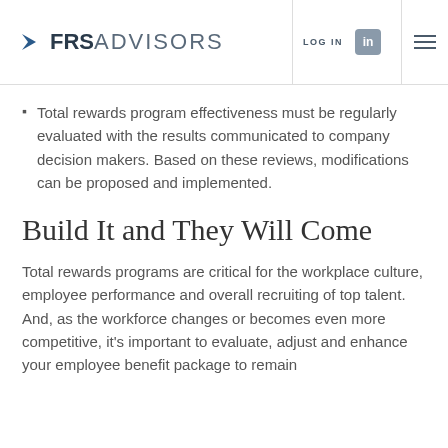FRS ADVISORS | LOG IN
Total rewards program effectiveness must be regularly evaluated with the results communicated to company decision makers. Based on these reviews, modifications can be proposed and implemented.
Build It and They Will Come
Total rewards programs are critical for the workplace culture, employee performance and overall recruiting of top talent. And, as the workforce changes or becomes even more competitive, it's important to evaluate, adjust and enhance your employee benefit package to remain